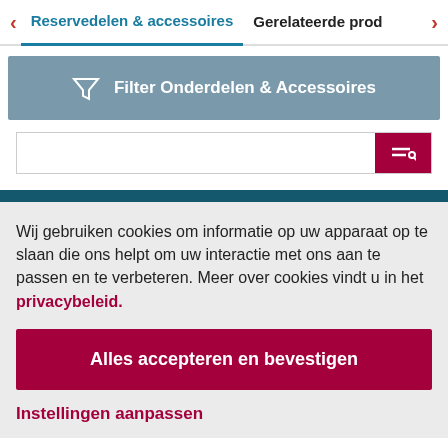Reservedelen & accessoires   Gerelateerde prod
[Figure (screenshot): Filter Onderdelen & Accessoires button with funnel icon in grey-blue background]
[Figure (screenshot): Search input field with pink/magenta search icon button on right]
Wij gebruiken cookies om informatie op uw apparaat op te slaan die ons helpt om uw interactie met ons aan te passen en te verbeteren. Meer over cookies vindt u in het privacybeleid.
Alles accepteren en bevestigen
Instellingen aanpassen